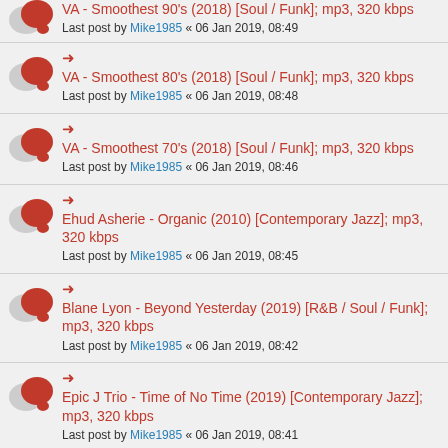VA - Smoothest 90's (2018) [Soul / Funk]; mp3, 320 kbps
Last post by Mike1985 « 06 Jan 2019, 08:49
VA - Smoothest 80's (2018) [Soul / Funk]; mp3, 320 kbps
Last post by Mike1985 « 06 Jan 2019, 08:48
VA - Smoothest 70's (2018) [Soul / Funk]; mp3, 320 kbps
Last post by Mike1985 « 06 Jan 2019, 08:46
Ehud Asherie - Organic (2010) [Contemporary Jazz]; mp3, 320 kbps
Last post by Mike1985 « 06 Jan 2019, 08:45
Blane Lyon - Beyond Yesterday (2019) [R&B / Soul / Funk]; mp3, 320 kbps
Last post by Mike1985 « 06 Jan 2019, 08:42
Epic J Trio - Time of No Time (2019) [Contemporary Jazz]; mp3, 320 kbps
Last post by Mike1985 « 06 Jan 2019, 08:41
Mike Morgan - Yesterday Point (2019) [Contemporary Jazz]; mp3, 3...